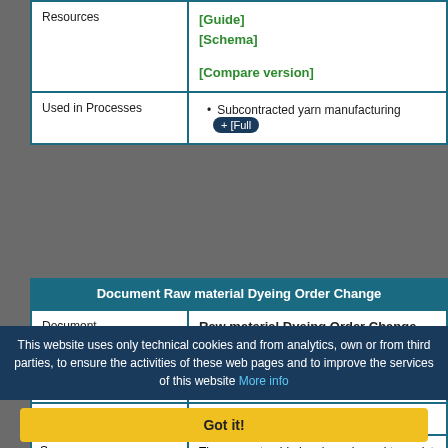|  |  |
| --- | --- |
| Resources | [Guide]
[Schema]
[Compare version] |
| Used in Processes | • Subcontracted yarn manufacturing  + [Full |
| Document Raw material Dyeing Order Change |  |
| --- | --- |
| Document | Raw material Dyeing Order Change
(Updated) |
| Description | Change to the Dyeing commission Order for a raw ma... |
| Release date | 05/11/2018 |
| Scope | The present guide has been issued to assist the co... MATERIAL DYEING ORDER CHANGE", providing a... their Customers shown in the enclosed diagram... |
This website uses only technical cookies and from analytics, own or from third parties, to ensure the activities of these web pages and to improve the services of this website More info
Got it!